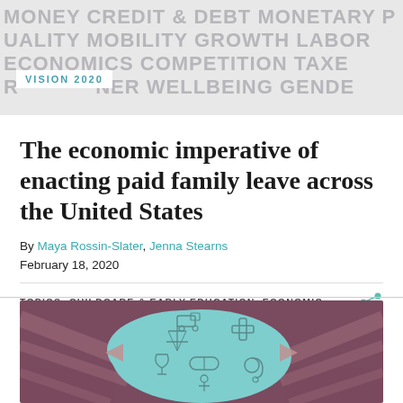MONEY CREDIT & DEBT MONETARY EQUALITY MOBILITY GROWTH LABOR ECONOMICS COMPETITION TAXES WORKER WELLBEING GENDER
VISION 2020
The economic imperative of enacting paid family leave across the United States
By Maya Rossin-Slater, Jenna Stearns
February 18, 2020
TOPICS: CHILDCARE & EARLY EDUCATION, ECONOMIC...
[Figure (illustration): Decorative illustration showing icons related to healthcare and family leave — pill capsule, medical cross, stethoscope, baby, arrows — on a teal background with dark reddish-brown surroundings]